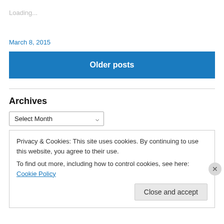Loading...
March 8, 2015
Older posts
Archives
Select Month
Privacy & Cookies: This site uses cookies. By continuing to use this website, you agree to their use.
To find out more, including how to control cookies, see here: Cookie Policy
Close and accept